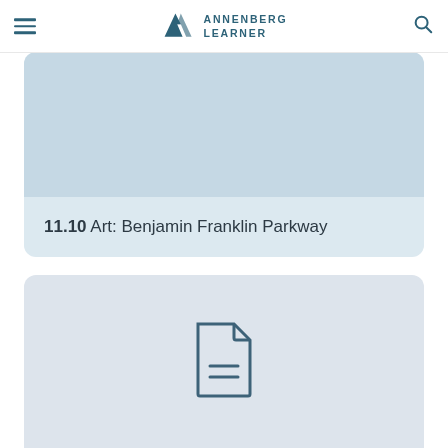Annenberg Learner
[Figure (screenshot): Card with light blue image area at top]
11.10 Art: Benjamin Franklin Parkway
[Figure (illustration): Card with grey background and a document/file icon in the center]
11.11 Art: The Washing Gown (detail)